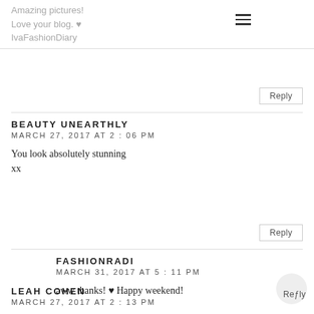Amazing pictures!
Love your blog. ♥
IvaFashionDiary
Reply
BEAUTY UNEARTHLY
MARCH 27, 2017 AT 2:06 PM

You look absolutely stunning
xx
Reply
FASHIONRADI
MARCH 31, 2017 AT 5:11 PM

aww thanks! ♥ Happy weekend!
Reply
LEAH COHEN
MARCH 27, 2017 AT 2:13 PM